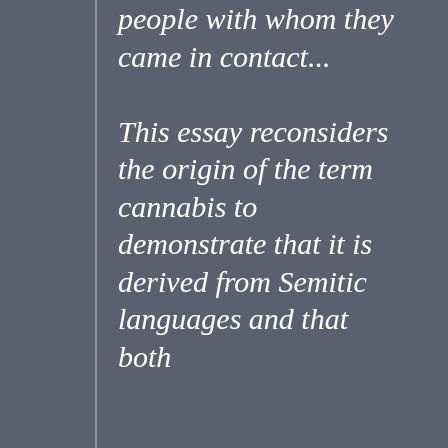people with whom they came in contact...

This essay reconsiders the origin of the term cannabis to demonstrate that it is derived from Semitic languages and that both